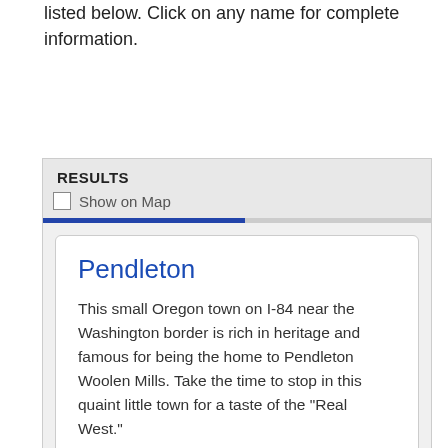listed below. Click on any name for complete information.
RESULTS
Show on Map
Pendleton
This small Oregon town on I-84 near the Washington border is rich in heritage and famous for being the home to Pendleton Woolen Mills. Take the time to stop in this quaint little town for a taste of the "Real West."
More Info